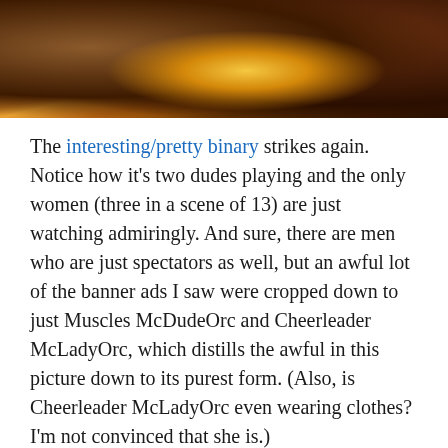[Figure (illustration): Dark fantasy game art showing multiple characters around a table with warm orange/gold lighting in the center, depicting an inn or tavern scene.]
The interesting/pretty binary strikes again. Notice how it's two dudes playing and the only women (three in a scene of 13) are just watching admiringly. And sure, there are men who are just spectators as well, but an awful lot of the banner ads I saw were cropped down to just Muscles McDudeOrc and Cheerleader McLadyOrc, which distills the awful in this picture down to its purest form. (Also, is Cheerleader McLadyOrc even wearing clothes? I'm not convinced that she is.)
Sadly, even with a meager 3 out of 13 figures being women, the Hearthstone…